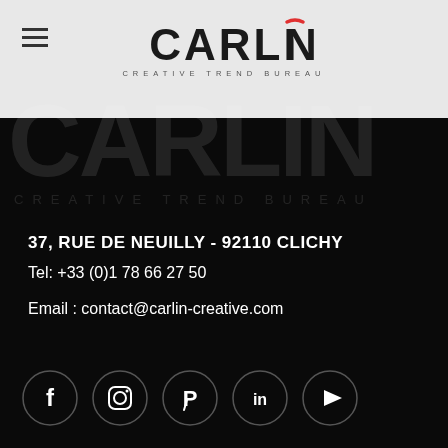[Figure (logo): Carlin Creative Trend Bureau logo in header bar]
[Figure (logo): Large watermark CARLIN CREATIVE TREND BUREAU text faded behind black section]
37, RUE DE NEUILLY - 92110 CLICHY
Tel: +33 (0)1 78 66 27 50
Email : contact@carlin-creative.com
[Figure (infographic): Social media icons row: Facebook, Instagram, Pinterest, LinkedIn, YouTube - all in dark circles with white icons]